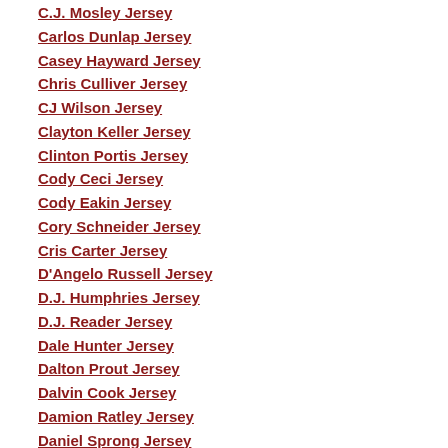C.J. Mosley Jersey
Carlos Dunlap Jersey
Casey Hayward Jersey
Chris Culliver Jersey
CJ Wilson Jersey
Clayton Keller Jersey
Clinton Portis Jersey
Cody Ceci Jersey
Cody Eakin Jersey
Cory Schneider Jersey
Cris Carter Jersey
D'Angelo Russell Jersey
D.J. Humphries Jersey
D.J. Reader Jersey
Dale Hunter Jersey
Dalton Prout Jersey
Dalvin Cook Jersey
Damion Ratley Jersey
Daniel Sprong Jersey
Danilo Gallinari Jersey
Dante Fabbro Jersey